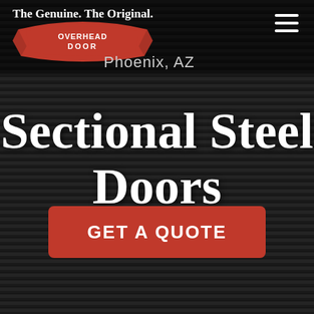[Figure (screenshot): Dark ribbed metal/steel horizontal stripe background covering full page]
The Genuine. The Original. — Overhead Door Phoenix, AZ — navigation bar with hamburger menu
Sectional Steel Doors
GET A QUOTE